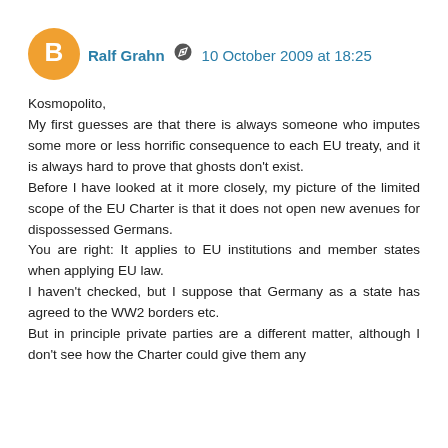Ralf Grahn  10 October 2009 at 18:25
Kosmopolito,
My first guesses are that there is always someone who imputes some more or less horrific consequence to each EU treaty, and it is always hard to prove that ghosts don't exist.
Before I have looked at it more closely, my picture of the limited scope of the EU Charter is that it does not open new avenues for dispossessed Germans.
You are right: It applies to EU institutions and member states when applying EU law.
I haven't checked, but I suppose that Germany as a state has agreed to the WW2 borders etc.
But in principle private parties are a different matter, although I don't see how the Charter could give them any